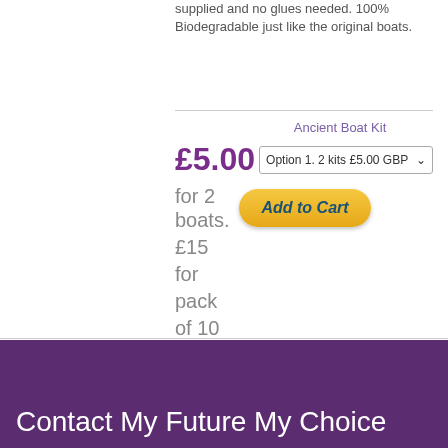supplied and no glues needed. 100% Biodegradable just like the original boats.
Ancient Boat Kit
£5.00 for 2 boats. £15 for pack of 10 boats
Contact My Future My Choice